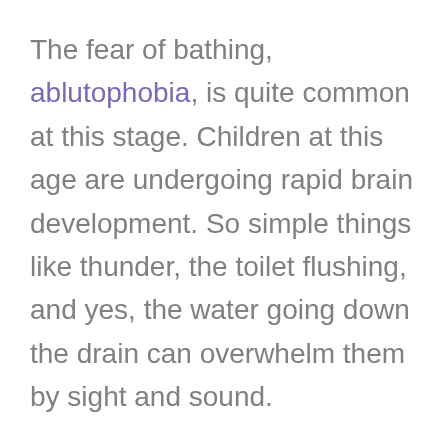The fear of bathing, ablutophobia, is quite common at this stage. Children at this age are undergoing rapid brain development. So simple things like thunder, the toilet flushing, and yes, the water going down the drain can overwhelm them by sight and sound.
Children at this age are most likely to think they might get sucked down the drain. My eldest became fearful of the